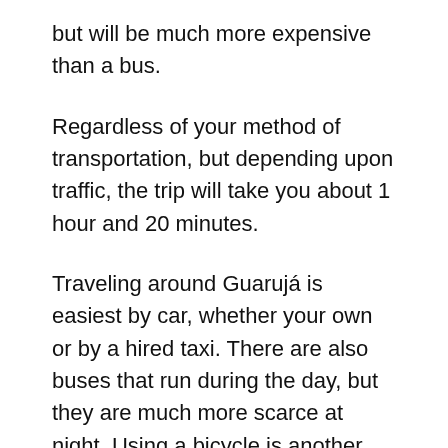but will be much more expensive than a bus.
Regardless of your method of transportation, but depending upon traffic, the trip will take you about 1 hour and 20 minutes.
Traveling around Guarujá is easiest by car, whether your own or by a hired taxi. There are also buses that run during the day, but they are much more scarce at night. Using a bicycle is another good option for getting around the city. There is a bike lane that stretches all around the city and will lead you to some beautiful views.